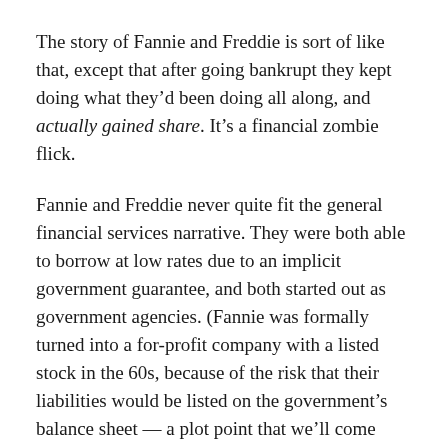The story of Fannie and Freddie is sort of like that, except that after going bankrupt they kept doing what they'd been doing all along, and actually gained share. It's a financial zombie flick.
Fannie and Freddie never quite fit the general financial services narrative. They were both able to borrow at low rates due to an implicit government guarantee, and both started out as government agencies. (Fannie was formally turned into a for-profit company with a listed stock in the 60s, because of the risk that their liabilities would be listed on the government's balance sheet — a plot point that we'll come back to later.) Freddie was founded in 1970, as a competitor, but it has approximately the same charter as Fannie, and offers the same services. Also it was and is implicitly backed